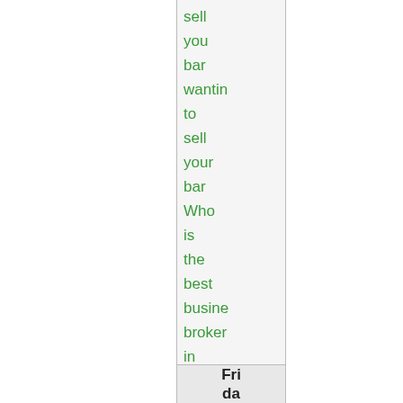sell you bar wanting to sell your bar Who is the best business broker in Tampa
Frida da